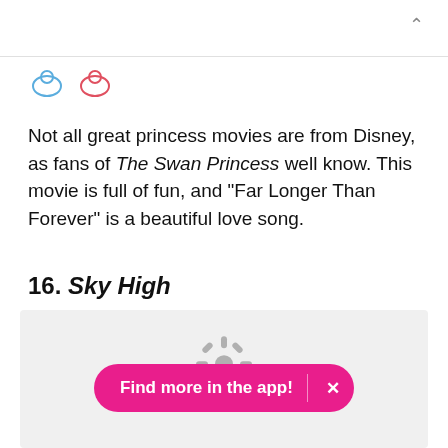[Figure (other): Two small circular avatar icons, one with blue outline and one with red/pink outline, partially visible at top]
Not all great princess movies are from Disney, as fans of The Swan Princess well know. This movie is full of fun, and "Far Longer Than Forever" is a beautiful love song.
16. Sky High
[Figure (photo): Image placeholder with grey background and a loading/gear icon in the center]
Find more in the app!